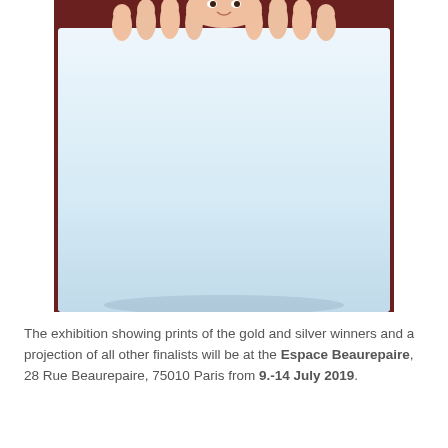[Figure (photo): Person peeking over a large white blank board/canvas, with hands gripping the top edge and face visible above. Background is dark reddish-brown. The board occupies most of the image and is light blue-white.]
The exhibition showing prints of the gold and silver winners and a projection of all other finalists will be at the Espace Beaurepaire, 28 Rue Beaurepaire, 75010 Paris from 9.-14 July 2019.